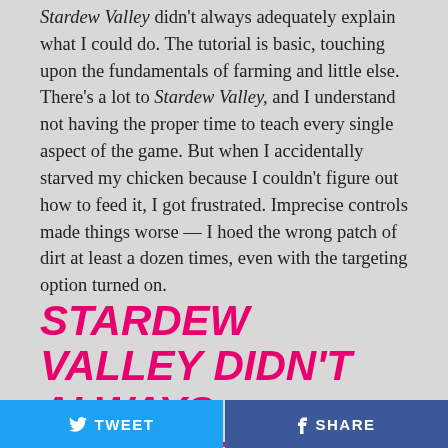Stardew Valley didn't always adequately explain what I could do. The tutorial is basic, touching upon the fundamentals of farming and little else. There's a lot to Stardew Valley, and I understand not having the proper time to teach every single aspect of the game. But when I accidentally starved my chicken because I couldn't figure out how to feed it, I got frustrated. Imprecise controls made things worse — I hoed the wrong patch of dirt at least a dozen times, even with the targeting option turned on.
STARDEW VALLEY DIDN'T ALWAYS ADEQUATELY EXPLAIN
TWEET | SHARE